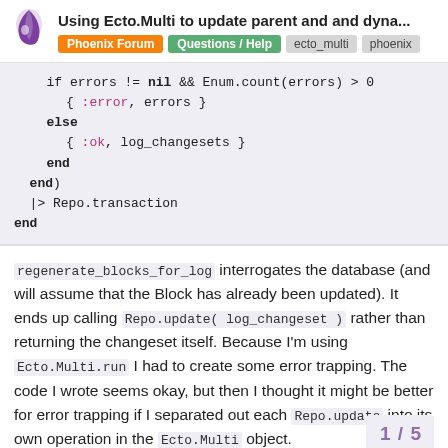Using Ecto.Multi to update parent and and dyna...
[Figure (logo): Phoenix framework drop logo, purple]
Phoenix Forum | Questions / Help | ecto_multi | phoenix
if errors != nil && Enum.count(errors) > 0
    { :error, errors }
  else
    { :ok, log_changesets }
  end
end)
|> Repo.transaction
end
regenerate_blocks_for_log interrogates the database (and will assume that the Block has already been updated). It ends up calling Repo.update( log_changeset ) rather than returning the changeset itself. Because I'm using Ecto.Multi.run I had to create some error trapping. The code I wrote seems okay, but then I thought it might be better for error trapping if I separated out each Repo.update into its own operation in the Ecto.Multi object.
1 / 5
So I created this version: